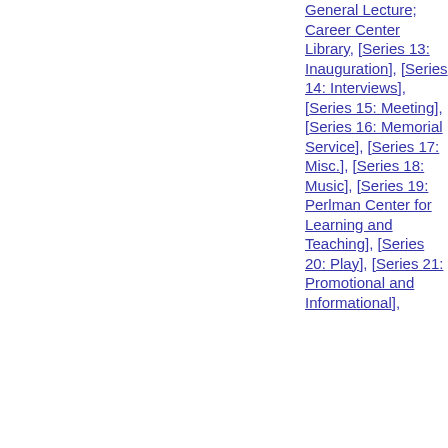General Lecture; Career Center Library], [Series 13: Inauguration], [Series 14: Interviews], [Series 15: Meeting], [Series 16: Memorial Service], [Series 17: Misc.], [Series 18: Music], [Series 19: Perlman Center for Learning and Teaching], [Series 20: Play], [Series 21: Promotional and Informational],